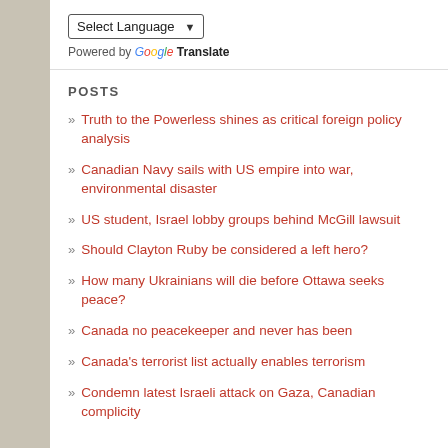[Figure (screenshot): Select Language dropdown box with arrow]
Powered by Google Translate
POSTS
Truth to the Powerless shines as critical foreign policy analysis
Canadian Navy sails with US empire into war, environmental disaster
US student, Israel lobby groups behind McGill lawsuit
Should Clayton Ruby be considered a left hero?
How many Ukrainians will die before Ottawa seeks peace?
Canada no peacekeeper and never has been
Canada's terrorist list actually enables terrorism
Condemn latest Israeli attack on Gaza, Canadian complicity